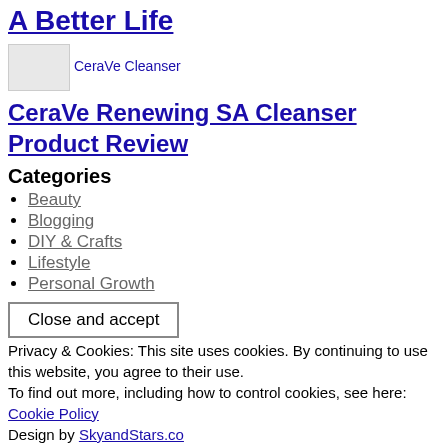A Better Life
[Figure (photo): CeraVe Cleanser product image thumbnail]
CeraVe Renewing SA Cleanser Product Review
Categories
Beauty
Blogging
DIY & Crafts
Lifestyle
Personal Growth
Close and accept
Privacy & Cookies: This site uses cookies. By continuing to use this website, you agree to their use.
To find out more, including how to control cookies, see here:
Cookie Policy
Design by SkyandStars.co
Back Top
Copyright © 2023 Linda Jo...